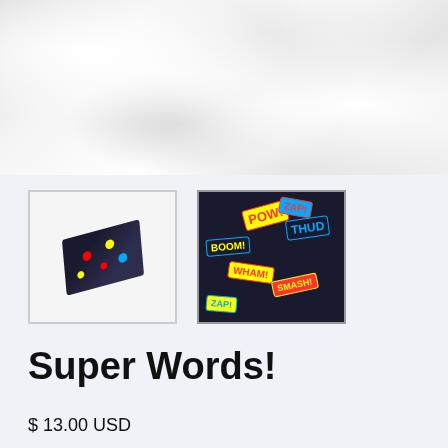[Figure (photo): Top portion of a product photo showing a white crumpled fabric item (arm sleeve/headband) with comic book style print at the top edge. White ruffled fabric against a light grey-blue background.]
[Figure (photo): Thumbnail 1: Small product photo showing a dark-background arm sleeve with colorful comic book word art (POW, ZAP, BOOM etc.) in red, yellow, blue colors, displayed diagonally.]
[Figure (photo): Thumbnail 2: Close-up fabric pattern photo showing comic book style exclamation words (POW, THUD, ZAP, BOOM, WHAM, SMASH) on dark navy background in red, yellow, and blue colors.]
Super Words!
$ 13.00 USD